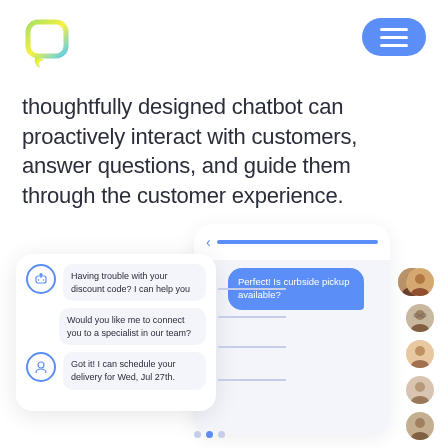[Figure (logo): Chat application logo — stylized speech bubble icon with green-to-yellow gradient]
[Figure (infographic): Chatbot UI illustration showing a mobile chat interface with bot messages: 'Having trouble with your discount code? I can help you', 'Would you like me to connect you to a specialist in our team?', 'Got it! I can schedule your delivery for Wed, Jul 27th.' and a user bubble 'Perfect! Is curbside pickup available?' with customer avatars on the right side]
thoughtfully designed chatbot can proactively interact with customers, answer questions, and guide them through the customer experience.